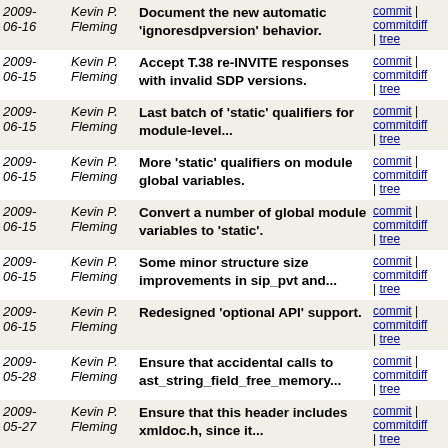| Date | Author | Commit Message | Links |
| --- | --- | --- | --- |
| 2009-06-16 | Kevin P. Fleming | Document the new automatic 'ignoresdpversion' behavior. | commit | commitdiff | tree |
| 2009-06-15 | Kevin P. Fleming | Accept T.38 re-INVITE responses with invalid SDP versions. | commit | commitdiff | tree |
| 2009-06-15 | Kevin P. Fleming | Last batch of 'static' qualifiers for module-level... | commit | commitdiff | tree |
| 2009-06-15 | Kevin P. Fleming | More 'static' qualifiers on module global variables. | commit | commitdiff | tree |
| 2009-06-15 | Kevin P. Fleming | Convert a number of global module variables to 'static'. | commit | commitdiff | tree |
| 2009-06-15 | Kevin P. Fleming | Some minor structure size improvements in sip_pvt and... | commit | commitdiff | tree |
| 2009-06-15 | Kevin P. Fleming | Redesigned 'optional API' support. | commit | commitdiff | tree |
| 2009-05-28 | Kevin P. Fleming | Ensure that accidental calls to ast_string_field_free_memory... | commit | commitdiff | tree |
| 2009-05-27 | Kevin P. Fleming | Ensure that this header includes xmldoc.h, since it... | commit | commitdiff | tree |
| 2009-05-23 | Kevin P. Fleming | Correct example for CLI autocompletion (generation) | commit | commitdiff | tree |
| 2009-05-21 | Kevin P. Fleming | Const-ify the world (or at least a good part of it) | commit | commitdiff | tree |
| 2009-05-15 | Kevin P. Fleming | Add ability for modules to dynamically register logger... | commit | commitdiff | tree |
| 2009-05-14 | Kevin P. Fleming | Merged revisions 194509 via svnmerge from | commit | commitdiff | tree |
| 2009- | Kevin P. | add Iconst qualifiers in various places... | commit |